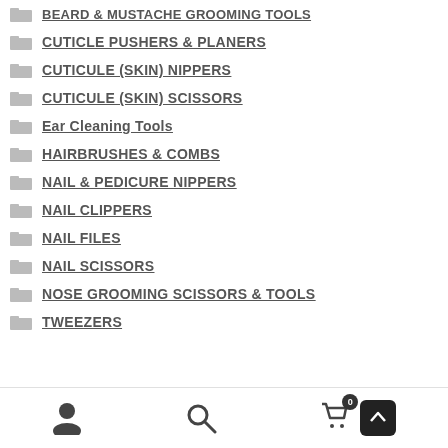BEARD & MUSTACHE GROOMING TOOLS
CUTICLE PUSHERS & PLANERS
CUTICULE (SKIN) NIPPERS
CUTICULE (SKIN) SCISSORS
Ear Cleaning Tools
HAIRBRUSHES & COMBS
NAIL & PEDICURE NIPPERS
NAIL CLIPPERS
NAIL FILES
NAIL SCISSORS
NOSE GROOMING SCISSORS & TOOLS
TWEEZERS
User | Search | Cart (0) | Scroll to top